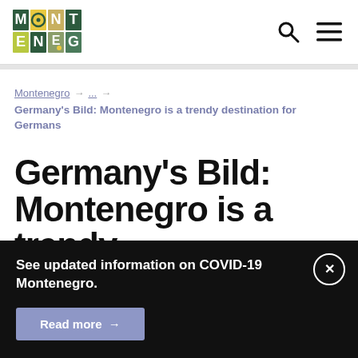[Figure (logo): Montenegro tourism logo — colorful mosaic letters spelling MONTE NEGRO]
Montenegro tourism website header with search and menu icons
Montenegro → ... → Germany's Bild: Montenegro is a trendy destination for Germans
Germany's Bild: Montenegro is a trendy
See updated information on COVID-19 Montenegro.
Read more →